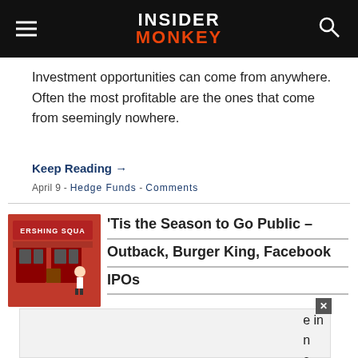Insider Monkey
Investment opportunities can come from anywhere. Often the most profitable are the ones that come from seemingly nowhere.
Keep Reading →
April 9 - Hedge Funds - Comments
'Tis the Season to Go Public – Outback, Burger King, Facebook IPOs
Facebook, Burger King, Outback Steakhouse –